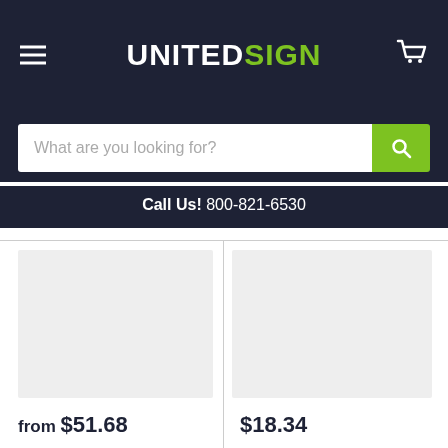UNITEDSIGN
What are you looking for?
Call Us! 800-821-6530
[Figure (photo): Product image placeholder (light gray rectangle)]
[Figure (photo): Product image placeholder (light gray rectangle)]
from $51.68
$18.34